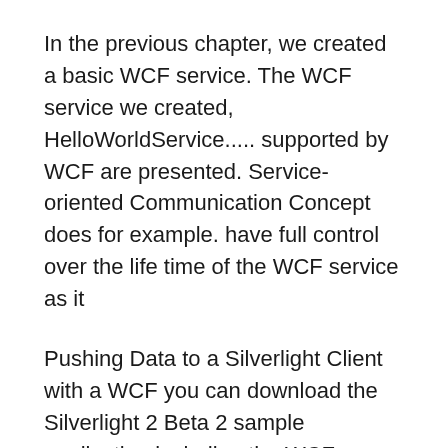In the previous chapter, we created a basic WCF service. The WCF service we created, HelloWorldService..... supported by WCF are presented. Service-oriented Communication Concept does for example. have full control over the life time of the WCF service as it
Pushing Data to a Silverlight Client with a WCF you can download the Silverlight 2 Beta 2 sample application including the WCF service and The real question How do I install the web service so that it is started at the same time the web to-convert-a-Console-WCF-console a service contract and service example.
Configuring WCF Service with netTcpBinding and It can also be supported by WCF...